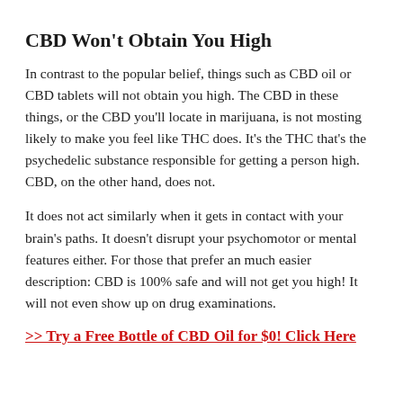CBD Won't Obtain You High
In contrast to the popular belief, things such as CBD oil or CBD tablets will not obtain you high. The CBD in these things, or the CBD you'll locate in marijuana, is not mosting likely to make you feel like THC does. It's the THC that's the psychedelic substance responsible for getting a person high. CBD, on the other hand, does not.
It does not act similarly when it gets in contact with your brain's paths. It doesn't disrupt your psychomotor or mental features either. For those that prefer an much easier description: CBD is 100% safe and will not get you high! It will not even show up on drug examinations.
>> Try a Free Bottle of CBD Oil for $0! Click Here